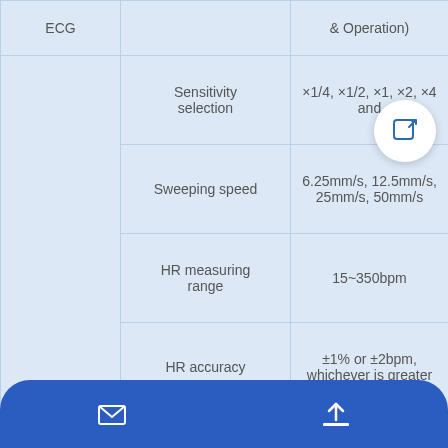| Category | Parameter | Value |
| --- | --- | --- |
| ECG |  | & Operation) |
|  | Sensitivity selection | ×1/4, ×1/2, ×1, ×2, ×4 and... |
|  | Sweeping speed | 6.25mm/s, 12.5mm/s, 25mm/s, 50mm/s |
|  | HR measuring range | 15~350bpm |
|  | HR accuracy | ±1% or ±2bpm, whichever is greater |
|  | Pacemaker pulse detection and rejection function |  |
|  | Measuring range | 0~120rpm |
|  |  | 2 rpm, |